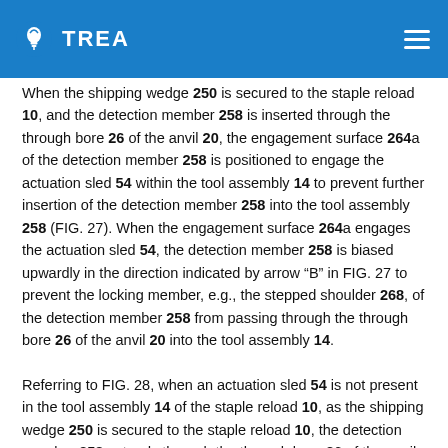TREA
When the shipping wedge 250 is secured to the staple reload 10, and the detection member 258 is inserted through the through bore 26 of the anvil 20, the engagement surface 264a of the detection member 258 is positioned to engage the actuation sled 54 within the tool assembly 14 to prevent further insertion of the detection member 258 into the tool assembly 258 (FIG. 27). When the engagement surface 264a engages the actuation sled 54, the detection member 258 is biased upwardly in the direction indicated by arrow “B” in FIG. 27 to prevent the locking member, e.g., the stepped shoulder 268, of the detection member 258 from passing through the through bore 26 of the anvil 20 into the tool assembly 14.
Referring to FIG. 28, when an actuation sled 54 is not present in the tool assembly 14 of the staple reload 10, as the shipping wedge 250 is secured to the staple reload 10, the detection member 258 extends through the through bore 26 of the anvil 20 and enters the tool assembly 14 without